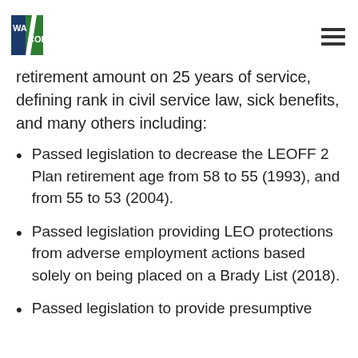WA COPS
retirement amount on 25 years of service, defining rank in civil service law, sick benefits, and many others including:
Passed legislation to decrease the LEOFF 2 Plan retirement age from 58 to 55 (1993), and from 55 to 53 (2004).
Passed legislation providing LEO protections from adverse employment actions based solely on being placed on a Brady List (2018).
Passed legislation to provide presumptive